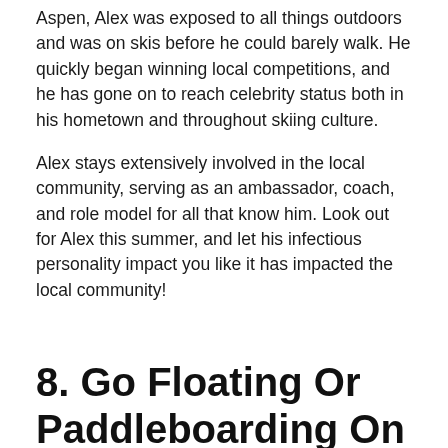Aspen, Alex was exposed to all things outdoors and was on skis before he could barely walk. He quickly began winning local competitions, and he has gone on to reach celebrity status both in his hometown and throughout skiing culture.
Alex stays extensively involved in the local community, serving as an ambassador, coach, and role model for all that know him. Look out for Alex this summer, and let his infectious personality impact you like it has impacted the local community!
8. Go Floating Or Paddleboarding On the Roaring Fork
[Figure (photo): Aerial or close-up photograph of a river or stream surrounded by lush green vegetation and trees]
If you’re looking for a